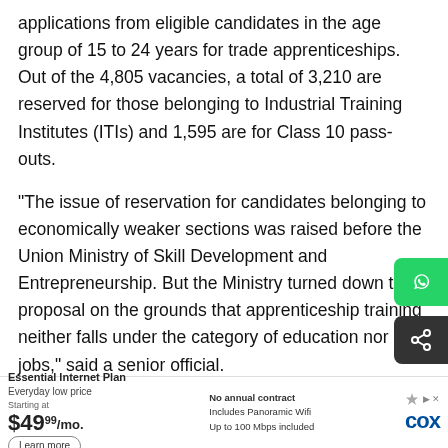applications from eligible candidates in the age group of 15 to 24 years for trade apprenticeships. Out of the 4,805 vacancies, a total of 3,210 are reserved for those belonging to Industrial Training Institutes (ITIs) and 1,595 are for Class 10 pass-outs.
"The issue of reservation for candidates belonging to economically weaker sections was raised before the Union Ministry of Skill Development and Entrepreneurship. But the Ministry turned down the proposal on the grounds that apprenticeship training neither falls under the category of education nor jobs," said a senior official.
The 103rd Amendment [Read in App] the Constitution empowers the state to provide up to 10 per cent reservation for "economically weaker sections" in education and public employment. The Amendment Act had been passed by the Parliament... National Democrat...
[Figure (screenshot): Advertisement banner for Cox Essential Internet Plan at $49.99/mo with no annual contract, includes Panoramic Wifi, up to 100 Mbps included.]